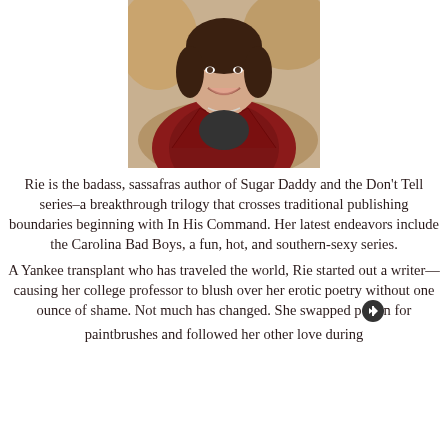[Figure (photo): Portrait photo of a woman with short dark hair wearing a red leather jacket, smiling, with blurred autumn foliage background]
Rie is the badass, sassafras author of Sugar Daddy and the Don't Tell series–a breakthrough trilogy that crosses traditional publishing boundaries beginning with In His Command. Her latest endeavors include the Carolina Bad Boys, a fun, hot, and southern-sexy series.
A Yankee transplant who has traveled the world, Rie started out a writer—causing her college professor to blush over her erotic poetry without one ounce of shame. Not much has changed. She swapped pen for paintbrushes and followed her other love during